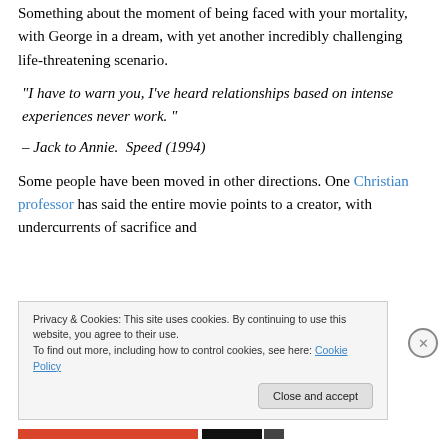Something about the moment of being faced with your mortality, with George in a dream, with yet another incredibly challenging life-threatening scenario.
“I have to warn you, I’ve heard relationships based on intense experiences never work. ”
– Jack to Annie.  Speed (1994)
Some people have been moved in other directions. One Christian professor has said the entire movie points to a creator, with undercurrents of sacrifice and
Privacy & Cookies: This site uses cookies. By continuing to use this website, you agree to their use.
To find out more, including how to control cookies, see here: Cookie Policy
Close and accept